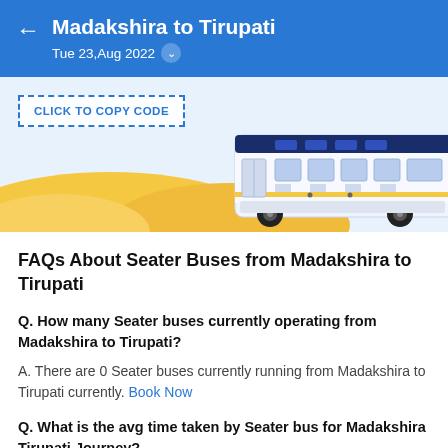Madakshira to Tirupati — Tue 23,Aug 2022
[Figure (illustration): Banner with a white bus illustration on sandy hills background, with a 'CLICK TO COPY CODE' dashed border button on the left.]
FAQs About Seater Buses from Madakshira to Tirupati
Q. How many Seater buses currently operating from Madakshira to Tirupati?
A. There are 0 Seater buses currently running from Madakshira to Tirupati currently. Book Now
Q. What is the avg time taken by Seater bus for Madakshira Tirupati Journey?